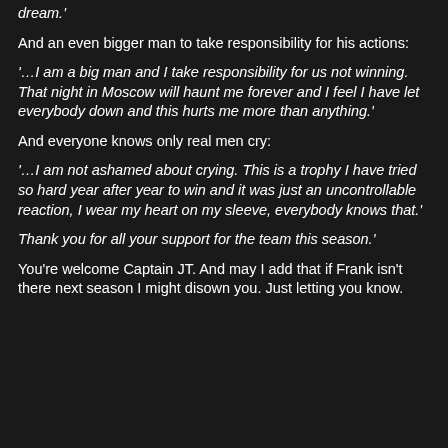dream.'
And an even bigger man to take responsibility for his actions:
'…I am a big man and I take responsibility for us not winning. That night in Moscow will haunt me forever and I feel I have let everybody down and this hurts me more than anything.'
And everyone knows only real men cry:
'…I am not ashamed about crying. This is a trophy I have tried so hard year after year to win and it was just an uncontrollable reaction, I wear my heart on my sleeve, everybody knows that.'
Thank you for all your support for the team this season.'
You're welcome Captain JT. And may I add that if Frank isn't there next season I might disown you. Just letting you know.